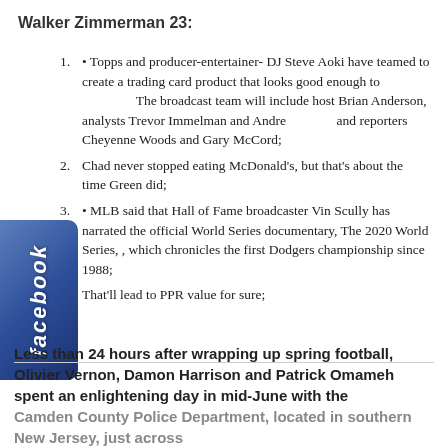Walker Zimmerman 23:
• Topps and producer-entertainer- DJ Steve Aoki have teamed to create a trading card product that looks good enough to      The broadcast team will include host Brian Anderson, analysts Trevor Immelman and Andre      and reporters Cheyenne Woods and Gary McCord;
Chad never stopped eating McDonald's, but that's about the time Green did;
• MLB said that Hall of Fame broadcaster Vin Scully has narrated the official World Series documentary, The 2020 World Series, , which chronicles the first Dodgers championship since 1988;
That'll lead to PPR value for sure;
Less than 24 hours after wrapping up spring football, Olivier Vernon, Damon Harrison and Patrick Omameh spent an enlightening day in mid-June with the Camden County Police Department, located in southern New Jersey, just across...